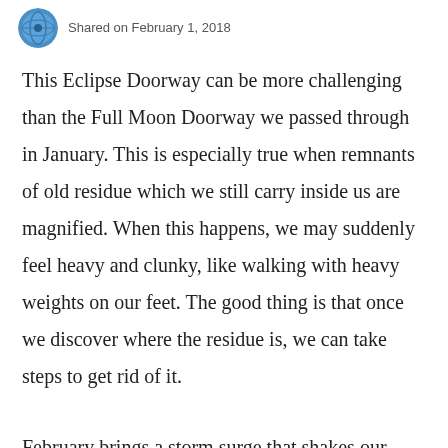Shared on February 1, 2018
This Eclipse Doorway can be more challenging than the Full Moon Doorway we passed through in January. This is especially true when remnants of old residue which we still carry inside us are magnified. When this happens, we may suddenly feel heavy and clunky, like walking with heavy weights on our feet. The good thing is that once we discover where the residue is, we can take steps to get rid of it.
February brings a storm surge that shakes our foundational realities. They shake, but they don't yet